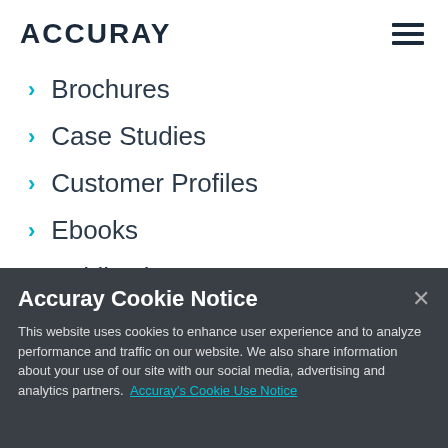ACCURAY
Brochures
Case Studies
Customer Profiles
Ebooks
Publications
Accuray Cookie Notice
This website uses cookies to enhance user experience and to analyze performance and traffic on our website. We also share information about your use of our site with our social media, advertising and analytics partners.  Accuray's Cookie Use Notice